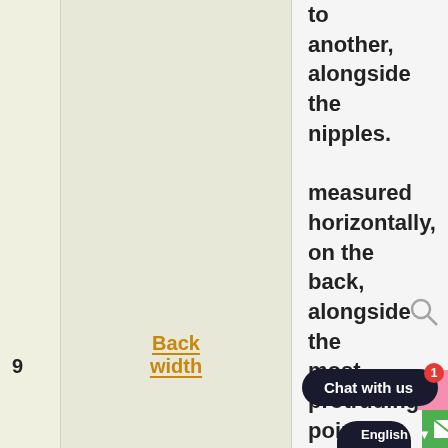to another, alongside the nipples.
measured horizontally, on the back, alongside the most protruding points of
9
Back width